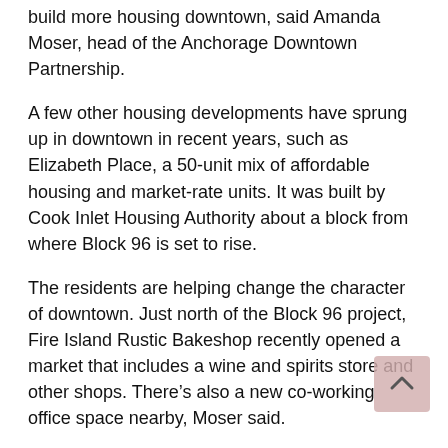build more housing downtown, said Amanda Moser, head of the Anchorage Downtown Partnership.
A few other housing developments have sprung up in downtown in recent years, such as Elizabeth Place, a 50-unit mix of affordable housing and market-rate units. It was built by Cook Inlet Housing Authority about a block from where Block 96 is set to rise.
The residents are helping change the character of downtown. Just north of the Block 96 project, Fire Island Rustic Bakeshop recently opened a market that includes a wine and spirits store and other shops. There's also a new co-working office space nearby, Moser said.
Residents at Block 96 will be another small step to change downtown from a work destination that empties at 5 p.m. to something with a neighborhood feel, where locals walk to work and on the way home buy a baguette and wine or dine out, she said.
“The more we bring these different types of businesses together that support each other, the more we’ll see